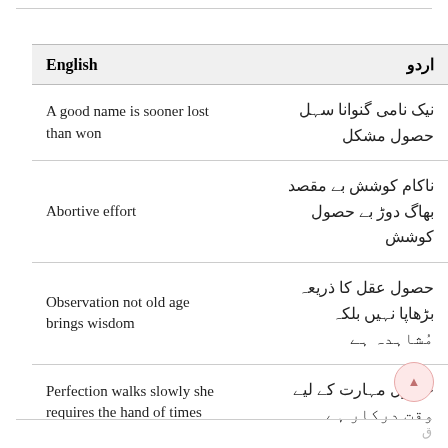| English | اردو |
| --- | --- |
| A good name is sooner lost than won | نیک نامی گنوانا سہل حصول مشکل |
| Abortive effort | ناکام کوشش بے مقصد بھاگ دوڑ بے حصول کوشش |
| Observation not old age brings wisdom | حصول عقل کا ذریعہ بڑھاپا نہیں بلکہ مُشاہدہ ہے |
| Perfection walks slowly she requires the hand of times | حصول مہارت کے لیے وقت درکار ہے |